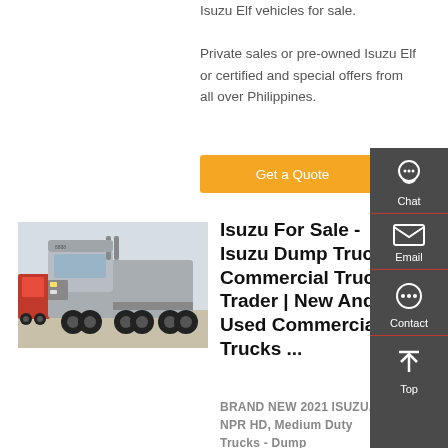Isuzu Elf vehicles for sale. Private sales or pre-owned Isuzu Elf or certified and special offers from all over Philippines.
Get a Quote
[Figure (photo): A large silver commercial truck (semi-truck/tractor unit) photographed outdoors in a lot.]
Isuzu For Sale - Isuzu Dump Truck Commercial Truck Trader | New And Used Commercial Trucks ...
BRAND NEW 2021 ISUZU, NPR HD, Medium Duty Trucks - Dump